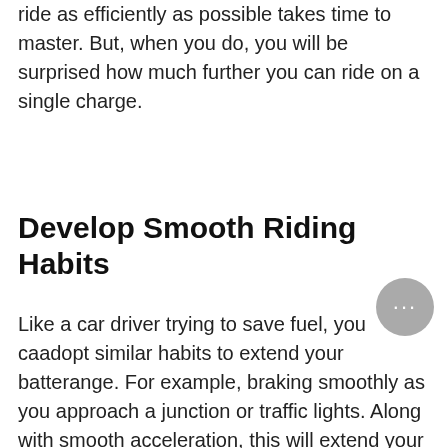ride as efficiently as possible takes time to master. But, when you do, you will be surprised how much further you can ride on a single charge.
Develop Smooth Riding Habits
Like a car driver trying to save fuel, you can adopt similar habits to extend your battery range. For example, braking smoothly as you approach a junction or traffic lights. Along with smooth acceleration, this will extend your range significantly.